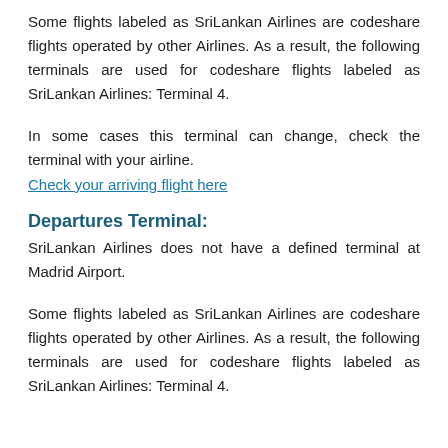Some flights labeled as SriLankan Airlines are codeshare flights operated by other Airlines. As a result, the following terminals are used for codeshare flights labeled as SriLankan Airlines: Terminal 4.
In some cases this terminal can change, check the terminal with your airline.
Check your arriving flight here
Departures Terminal:
SriLankan Airlines does not have a defined terminal at Madrid Airport.
Some flights labeled as SriLankan Airlines are codeshare flights operated by other Airlines. As a result, the following terminals are used for codeshare flights labeled as SriLankan Airlines: Terminal 4.